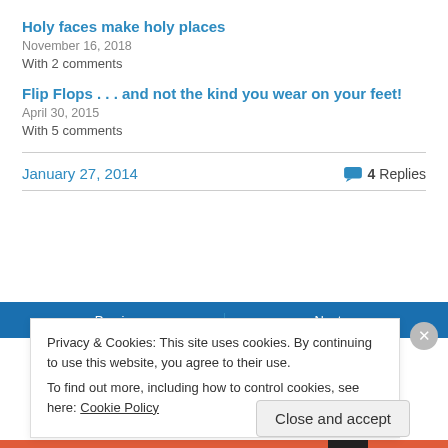Holy faces make holy places
November 16, 2018
With 2 comments
Flip Flops . . . and not the kind you wear on your feet!
April 30, 2015
With 5 comments
January 27, 2014
4 Replies
Previous
Next
Privacy & Cookies: This site uses cookies. By continuing to use this website, you agree to their use.
To find out more, including how to control cookies, see here: Cookie Policy
Close and accept